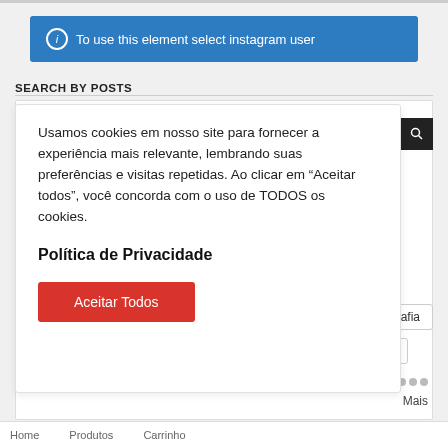[Figure (screenshot): Blue information banner with circle-i icon and text 'To use this element select instagram user']
SEARCH BY POSTS
Usamos cookies em nosso site para fornecer a experiência mais relevante, lembrando suas preferências e visitas repetidas. Ao clicar em "Aceitar todos", você concorda com o uso de TODOS os cookies.
Política de Privacidade
Aceitar Todos
gra
fotografia
Negro
Mais
Home   Produtos   Carrinho